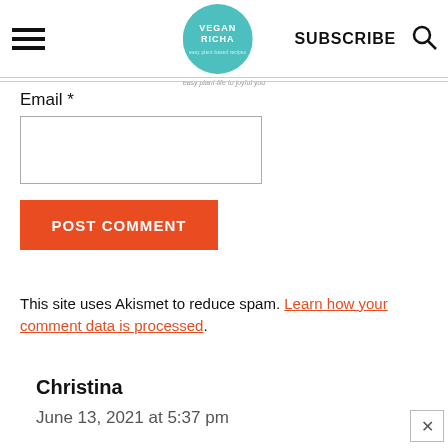[Figure (logo): Vegan Richa logo: teal circle with white text 'VEGAN RICHA' and small tagline below]
Email *
POST COMMENT
This site uses Akismet to reduce spam. Learn how your comment data is processed.
Christina
June 13, 2021 at 5:37 pm